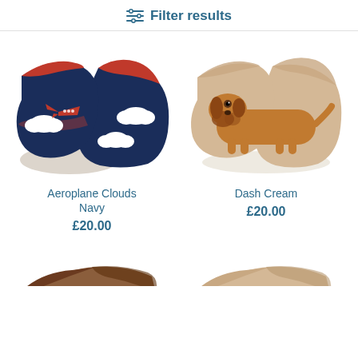Filter results
[Figure (photo): Navy blue baby shoes with red aeroplane and white clouds appliqué]
Aeroplane Clouds Navy
£20.00
[Figure (photo): Cream beige baby shoes with dachshund dog appliqué]
Dash Cream
£20.00
[Figure (photo): Partial view of brown baby shoes at bottom left]
[Figure (photo): Partial view of cream/beige baby shoes at bottom right]